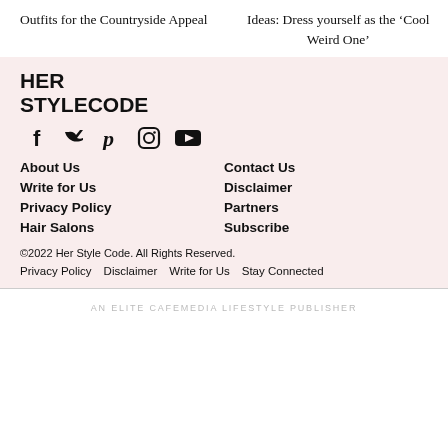Outfits for the Countryside Appeal
Ideas: Dress yourself as the ‘Cool Weird One’
HER STYLECODE
[Figure (other): Social media icons: Facebook, Twitter, Pinterest, Instagram, YouTube]
About Us
Contact Us
Write for Us
Disclaimer
Privacy Policy
Partners
Hair Salons
Subscribe
©2022 Her Style Code. All Rights Reserved.
Privacy Policy   Disclaimer   Write for Us   Stay Connected
AN ELITE CAFEMEDIA LIFESTYLE PUBLISHER